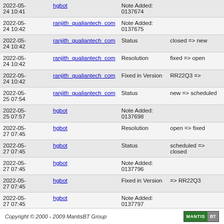| Date | User | Field | Change |
| --- | --- | --- | --- |
| 2022-05-24 10:41 | hgbot | Note Added: 0137674 |  |
| 2022-05-24 10:42 | ranjith_qualiantech_com | Note Added: 0137675 |  |
| 2022-05-24 10:42 | ranjith_qualiantech_com | Status | closed => new |
| 2022-05-24 10:42 | ranjith_qualiantech_com | Resolution | fixed => open |
| 2022-05-24 10:42 | ranjith_qualiantech_com | Fixed in Version | RR22Q3 => |
| 2022-05-25 07:54 | ranjith_qualiantech_com | Status | new => scheduled |
| 2022-05-25 07:57 | hgbot | Note Added: 0137698 |  |
| 2022-05-27 07:45 | hgbot | Resolution | open => fixed |
| 2022-05-27 07:45 | hgbot | Status | scheduled => closed |
| 2022-05-27 07:45 | hgbot | Note Added: 0137796 |  |
| 2022-05-27 07:45 | hgbot | Fixed in Version | => RR22Q3 |
| 2022-05-27 07:45 | hgbot | Note Added: 0137797 |  |
Copyright © 2000 - 2009 MantisBT Group